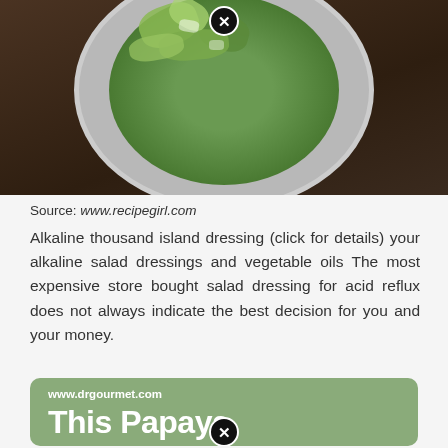[Figure (photo): Top-down photo of a green salad on a plate, against a dark wooden table background. A close/remove button (circled X) appears at the top center.]
Source: www.recipegirl.com
Alkaline thousand island dressing (click for details) your alkaline salad dressings and vegetable oils The most expensive store bought salad dressing for acid reflux does not always indicate the best decision for you and your money.
[Figure (screenshot): Green card/tile from www.drgourmet.com with white bold text reading 'This Papaya Poppyseed Salad'. A close/remove button (circled X) appears at the bottom center.]